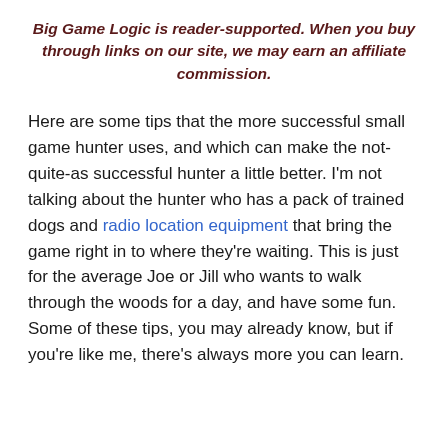Big Game Logic is reader-supported. When you buy through links on our site, we may earn an affiliate commission.
Here are some tips that the more successful small game hunter uses, and which can make the not-quite-as successful hunter a little better. I'm not talking about the hunter who has a pack of trained dogs and radio location equipment that bring the game right in to where they're waiting. This is just for the average Joe or Jill who wants to walk through the woods for a day, and have some fun. Some of these tips, you may already know, but if you're like me, there's always more you can learn.